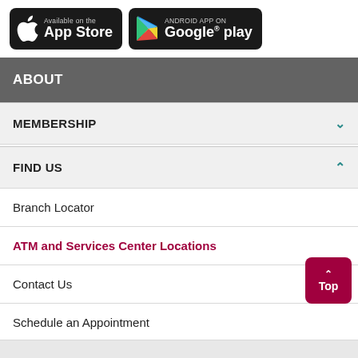[Figure (logo): App Store and Google Play download buttons]
ABOUT
MEMBERSHIP
FIND US
Branch Locator
ATM and Services Center Locations
Contact Us
Schedule an Appointment
Muriel: In-Lobby Teller Machines